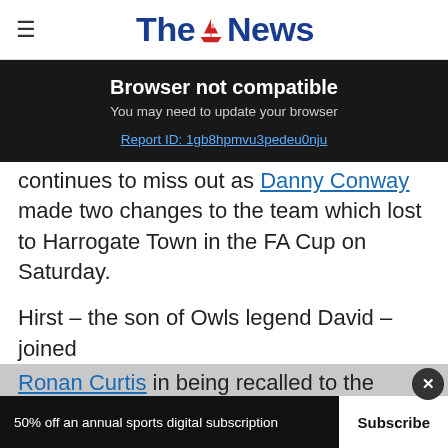The News
Browser not compatible
You may need to update your browser
Report ID: 1gb8hpmvu3pedeu0nju
continues to miss out as Danny Conway made two changes to the team which lost to Harrogate Town in the FA Cup on Saturday.
Hirst – the son of Owls legend David – joined Ronan Curtis in being recalled to the Blues starting XI.
50% off an annual sports digital subscription  Subscribe